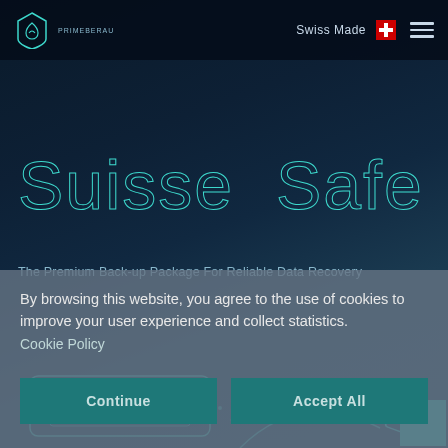[Figure (screenshot): Website header with logo (house/shield icon and company name), Swiss Made text, Swiss flag icon, and hamburger menu icon on dark navy background]
Suisse Safe
The Premium Back-up Package For Reliable Data Recovery
By browsing this website, you agree to the use of cookies to improve your user experience and collect statistics. Cookie Policy
Continue
Accept All
[Figure (illustration): Bottom decorative graphic elements with teal/cyan outlines of data recovery devices on dark background]